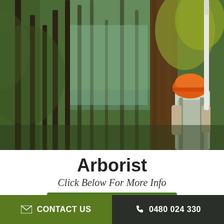[Figure (photo): Arborist wearing an orange hard hat and white shirt viewed from behind, standing next to a large tree trunk in a forest, holding a measuring pole extended upward. Green and yellow foliage visible in background.]
Arborist
Click Below For More Info
Enquire Now
CONTACT US   0480 024 330